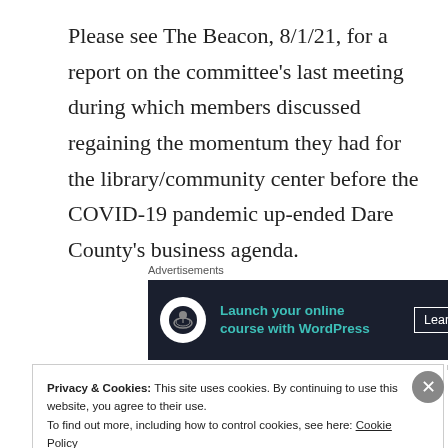Please see The Beacon, 8/1/21, for a report on the committee's last meeting during which members discussed regaining the momentum they had for the library/community center before the COVID-19 pandemic up-ended Dare County's business agenda.
[Figure (other): Advertisement banner for launching online courses with WordPress. Dark background with teal text reading 'Launch your online course with WordPress' and a 'Learn More' button.]
The proposed library would be located on Juniper Trail
Privacy & Cookies: This site uses cookies. By continuing to use this website, you agree to their use.
To find out more, including how to control cookies, see here: Cookie Policy